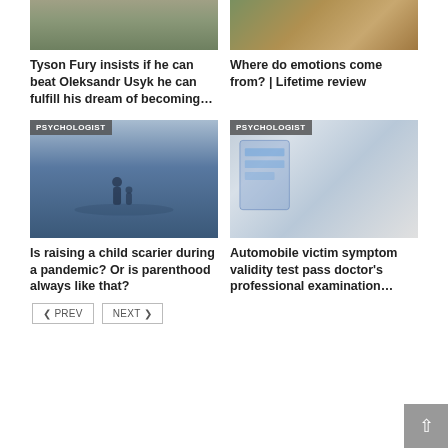[Figure (photo): Cropped photo of a person in floral/patterned clothing (Tyson Fury related article image)]
[Figure (photo): Cropped photo of people in colorful clothing (emotions article image)]
Tyson Fury insists if he can beat Oleksandr Usyk he can fulfill his dream of becoming…
Where do emotions come from? | Lifetime review
[Figure (photo): Photo of two silhouettes on a misty water/beach scene with PSYCHOLOGIST badge]
[Figure (photo): Photo of scientists/doctors in a lab with DNA display and PSYCHOLOGIST badge]
Is raising a child scarier during a pandemic? Or is parenthood always like that?
Automobile victim symptom validity test pass doctor's professional examination…